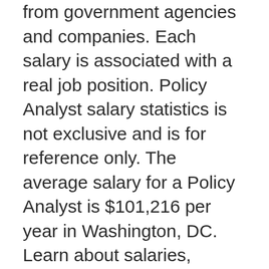from government agencies and companies. Each salary is associated with a real job position. Policy Analyst salary statistics is not exclusive and is for reference only. The average salary for a Policy Analyst is $101,216 per year in Washington, DC. Learn about salaries, benefits, salary satisfaction and where you could earn the most.
Filter by location to see Senior Policy Analyst salaries in your area. Salary estimates are based on 6 salaries submitted anonymously to Glassdoor by Senior Policy Analyst employees. Dear Mr. Bancroft, I am writing to apply for the Policy Analyst position with the Omega Institute for Human Rights. I am a professional with over six years of experience in policy analysis and a dual Master's degree in Statistics and Public Policy. REPR Class